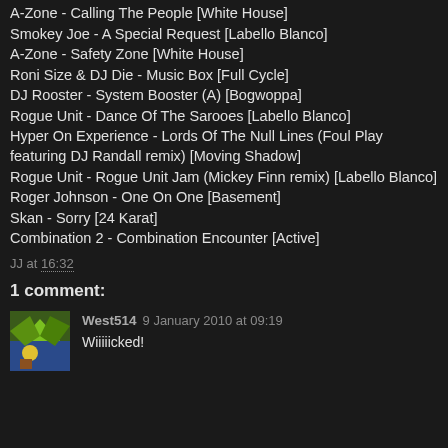A-Zone - Calling The People [White House]
Smokey Joe - A Special Request [Labello Blanco]
A-Zone - Safety Zone [White House]
Roni Size & DJ Die - Music Box [Full Cycle]
DJ Rooster - System Booster (A) [Bogwoppa]
Rogue Unit - Dance Of The Sarooes [Labello Blanco]
Hyper On Experience - Lords Of The Null Lines (Foul Play featuring DJ Randall remix) [Moving Shadow]
Rogue Unit - Rogue Unit Jam (Mickey Finn remix) [Labello Blanco]
Roger Johnson - One On One [Basement]
Skan - Sorry [24 Karat]
Combination 2 - Combination Encounter [Active]
JJ at 16:32
1 comment:
West514  9 January 2010 at 09:19
Wiiiiicked!